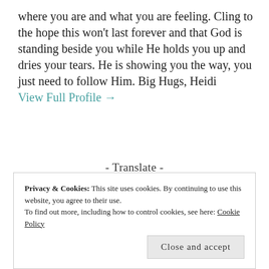where you are and what you are feeling. Cling to the hope this won't last forever and that God is standing beside you while He holds you up and dries your tears. He is showing you the way, you just need to follow Him. Big Hugs, Heidi
View Full Profile →
- Translate -
Select Language
Powered by Google Translate
- Subscribe to Blog via Email -
Privacy & Cookies: This site uses cookies. By continuing to use this website, you agree to their use.
To find out more, including how to control cookies, see here: Cookie Policy
Close and accept
Enter your email address